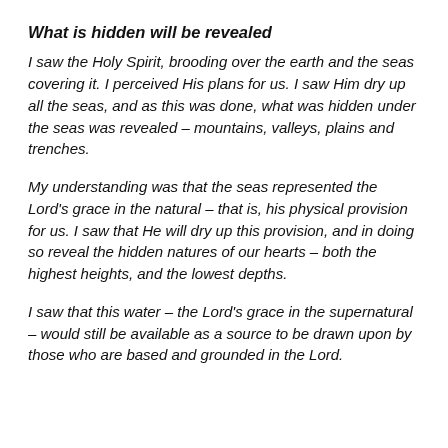What is hidden will be revealed
I saw the Holy Spirit, brooding over the earth and the seas covering it. I perceived His plans for us. I saw Him dry up all the seas, and as this was done, what was hidden under the seas was revealed – mountains, valleys, plains and trenches.
My understanding was that the seas represented the Lord's grace in the natural – that is, his physical provision for us. I saw that He will dry up this provision, and in doing so reveal the hidden natures of our hearts – both the highest heights, and the lowest depths.
I saw that this water – the Lord's grace in the supernatural – would still be available as a source to be drawn upon by those who are based and grounded in the Lord.